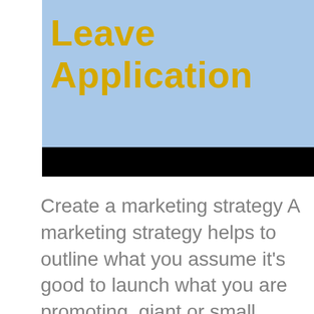Leave Application
Create a marketing strategy A marketing strategy helps to outline what you assume it's good to launch what you are promoting, giant or small. Many individuals starting a business will choose to register both as an LLC or a company, for instance, as a result of those two constructions will give homeowners restricted legal responsibility safety. We